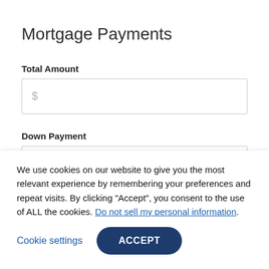Mortgage Payments
Total Amount
$
Down Payment
$
Interest Rate
We use cookies on our website to give you the most relevant experience by remembering your preferences and repeat visits. By clicking “Accept”, you consent to the use of ALL the cookies. Do not sell my personal information.
Cookie settings
ACCEPT